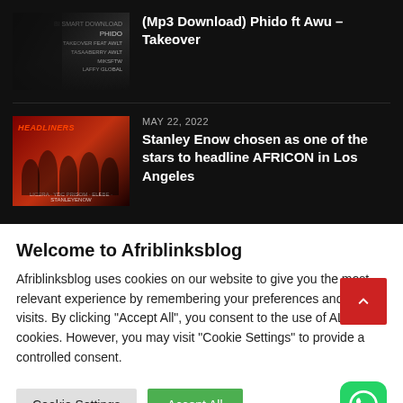[Figure (photo): Thumbnail image for music article - dark monochrome photo]
(Mp3 Download) Phido ft Awu – Takeover
[Figure (photo): Thumbnail image for Headliners event featuring group of artists on red background]
MAY 22, 2022
Stanley Enow chosen as one of the stars to headline AFRICON in Los Angeles
Welcome to Afriblinksblog
Afriblinksblog uses cookies on our website to give you the most relevant experience by remembering your preferences and repeat visits. By clicking "Accept All", you consent to the use of ALL the cookies. However, you may visit "Cookie Settings" to provide a controlled consent.
Cookie Settings
Accept All